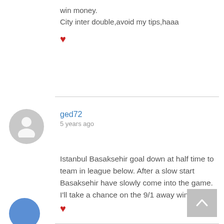win money.
City inter double,avoid my tips,haaa
❤
ged72
5 years ago
Istanbul Basaksehir goal down at half time to team in league below. After a slow start Basaksehir have slowly come into the game. I'll take a chance on the 9/1 away win.
❤